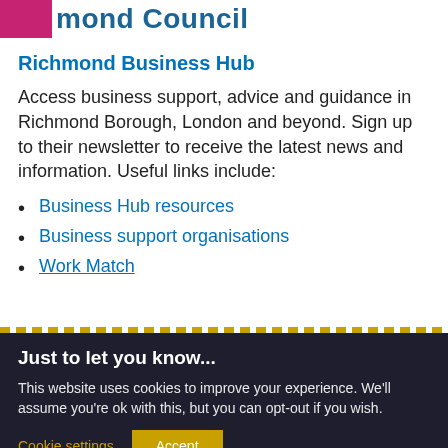mond Council
Richmond Business Hub
Access business support, advice and guidance in Richmond Borough, London and beyond. Sign up to their newsletter to receive the latest news and information. Useful links include:
Business Hub resources
Business support organisations
Work Match
Just to let you know...
This website uses cookies to improve your experience. We'll assume you're ok with this, but you can opt-out if you wish.
Cookie settings  Accept